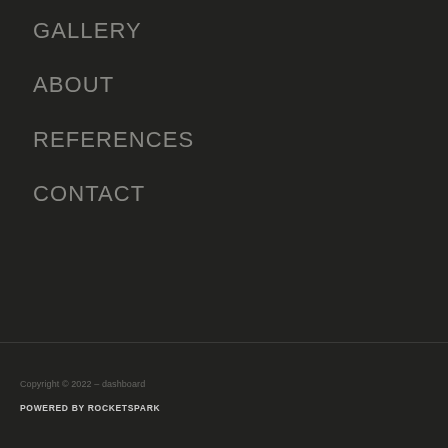GALLERY
ABOUT
REFERENCES
CONTACT
Copyright © 2022 – dashboard
POWERED BY ROCKETSPARK